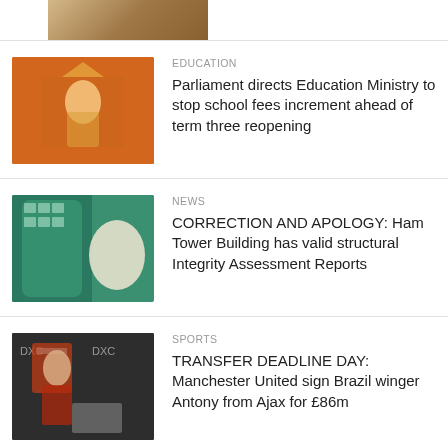[Figure (photo): Partial top image cropped at top of page]
EDUCATION
Parliament directs Education Ministry to stop school fees increment ahead of term three reopening
[Figure (photo): Person speaking at a podium with orange background]
NEWS
CORRECTION AND APOLOGY: Ham Tower Building has valid structural Integrity Assessment Reports
[Figure (photo): Person in front of a green glass building]
SPORTS
TRANSFER DEADLINE DAY: Manchester United sign Brazil winger Antony from Ajax for £86m
[Figure (photo): Football player signing a document in a sports kit]
NEWS
UPDF retires 260 senior officers
[Figure (photo): Military scene outdoors]